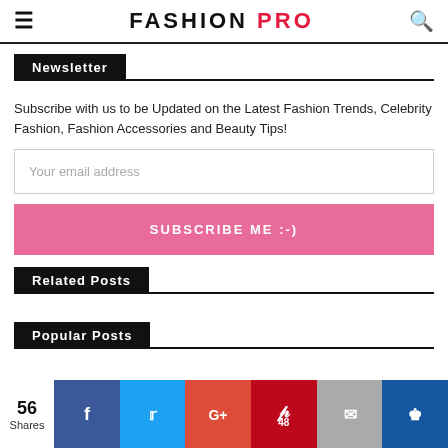FASHION PRO
Newsletter
Subscribe with us to be Updated on the Latest Fashion Trends, Celebrity Fashion, Fashion Accessories and Beauty Tips!
Your email address
SUBSCRIBE ME :-)
Related Posts
Popular Posts
56 Shares